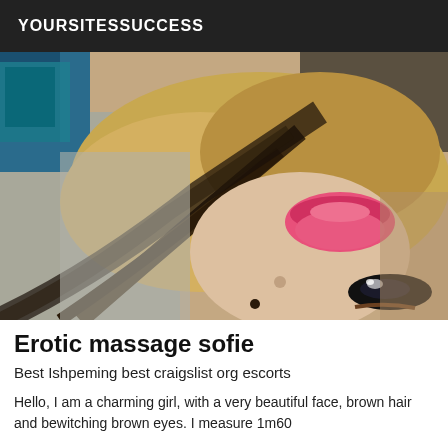YOURSITESSUCCESS
[Figure (photo): Close-up photo of a young woman lying down with blonde hair, pink lipstick, dark eye makeup, taken at an angle]
Erotic massage sofie
Best Ishpeming best craigslist org escorts
Hello, I am a charming girl, with a very beautiful face, brown hair and bewitching brown eyes. I measure 1m60